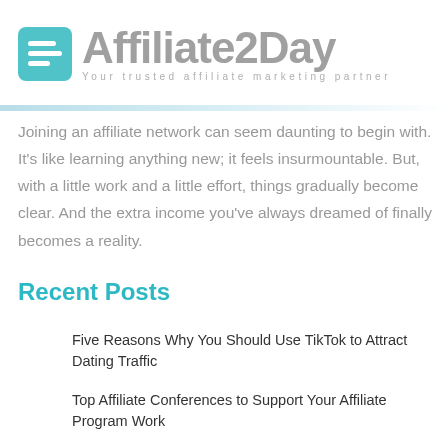[Figure (logo): Affiliate2Day logo with teal document icon and gray text reading 'Affiliate2Day' and subtitle 'Your trusted affiliate marketing partner']
Joining an affiliate network can seem daunting to begin with. It's like learning anything new; it feels insurmountable. But, with a little work and a little effort, things gradually become clear. And the extra income you've always dreamed of finally becomes a reality.
Recent Posts
Five Reasons Why You Should Use TikTok to Attract Dating Traffic
Top Affiliate Conferences to Support Your Affiliate Program Work
Affiliate Conferences As a Part of Your Affiliate Program